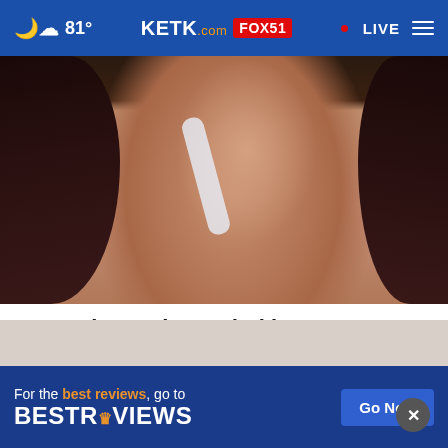81° KETK.com FOX51 • LIVE
[Figure (photo): Close-up photo of a woman applying a white strip or product to her nose, with long dark hair, against a warm background.]
Removing Moles and Skin Tags Has Never Been Easier (Just Do This!)
Trending Stories
[Figure (screenshot): BestReviews advertisement banner: 'For the best reviews, go to BESTREVIEWS' with a 'Go Now' button.]